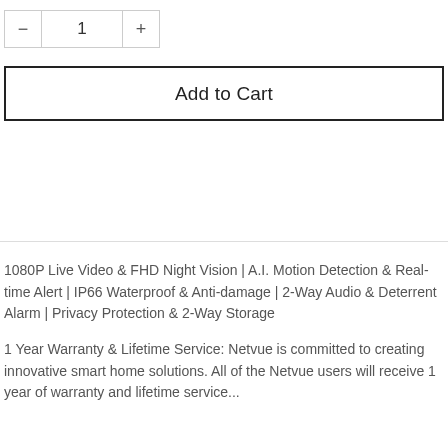[Figure (screenshot): Quantity selector with minus button, value '1', and plus button]
Add to Cart
1080P Live Video & FHD Night Vision | A.I. Motion Detection & Real-time Alert | IP66 Waterproof & Anti-damage | 2-Way Audio & Deterrent Alarm | Privacy Protection & 2-Way Storage
1 Year Warranty & Lifetime Service: Netvue is committed to creating innovative smart home solutions. All of the Netvue users will receive 1 year of warranty and lifetime service...